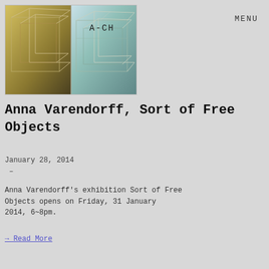[Figure (photo): Two-panel photograph showing geometric wire/rod frame structures (rectangular cuboid outlines) installed in a gallery space. The left panel is darker/yellowed, the right panel shows the same installation in cooler light. Text 'A-CH' is overlaid on the image.]
MENU
Anna Varendorff, Sort of Free Objects
January 28, 2014
 –
Anna Varendorff's exhibition Sort of Free Objects opens on Friday, 31 January 2014, 6~8pm.
→ Read More